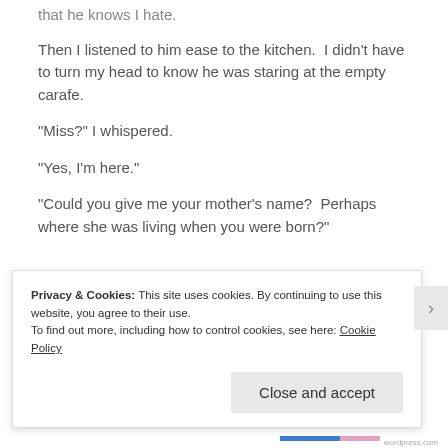that he knows I hate.
Then I listened to him ease to the kitchen.  I didn't have to turn my head to know he was staring at the empty carafe.
“Miss?” I whispered.
“Yes, I’m here.”
“Could you give me your mother’s name?  Perhaps where she was living when you were born?”
Privacy & Cookies: This site uses cookies. By continuing to use this website, you agree to their use.
To find out more, including how to control cookies, see here: Cookie Policy